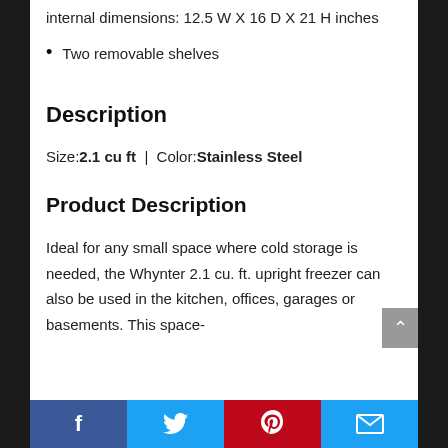internal dimensions: 12.5 W X 16 D X 21 H inches
Two removable shelves
Description
Size: 2.1 cu ft  |  Color: Stainless Steel
Product Description
Ideal for any small space where cold storage is needed, the Whynter 2.1 cu. ft. upright freezer can also be used in the kitchen, offices, garages or basements. This space-